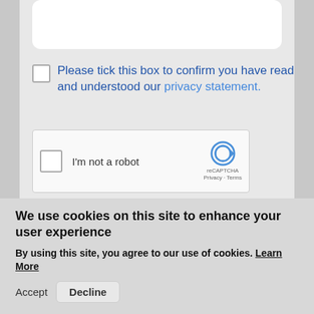[Figure (screenshot): White text input box at top of form area]
Please tick this box to confirm you have read and understood our privacy statement.
[Figure (screenshot): reCAPTCHA widget with checkbox, I'm not a robot label, and reCAPTCHA logo with Privacy and Terms links]
SUBMIT
We use cookies on this site to enhance your user experience
By using this site, you agree to our use of cookies. Learn More
Accept  Decline